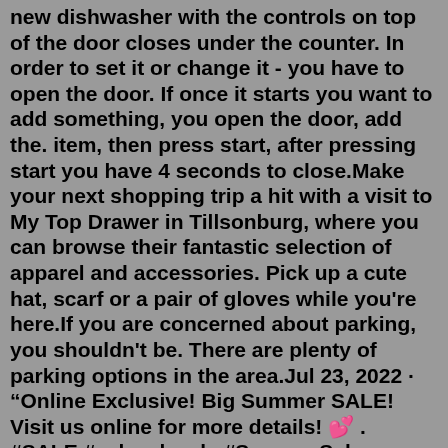new dishwasher with the controls on top of the door closes under the counter. In order to set it or change it - you have to open the door. If once it starts you want to add something, you open the door, add the. item, then press start, after pressing start you have 4 seconds to close.Make your next shopping trip a hit with a visit to My Top Drawer in Tillsonburg, where you can browse their fantastic selection of apparel and accessories. Pick up a cute hat, scarf or a pair of gloves while you're here.If you are concerned about parking, you shouldn't be. There are plenty of parking options in the area.Jul 23, 2022 · “Online Exclusive! Big Summer SALE! Visit us online for more details! 💕 . #SALE #salesalesale #SummerSale #SummerVibes #OnlineOnly #OnlineExclusive #MyTopDrawer” Women. Team. DI Top 25. DI Top 25 Composite. Player. Upperclassman Top 100. Freshman Top 100. Conference Top 20s. View all rankings.Gome Under Desk Pull-Out Drawer - Storage Organizer Office Mounted, Easy Slide-Out Pencil Drawing & Savings Laptop Holder The Top Tri